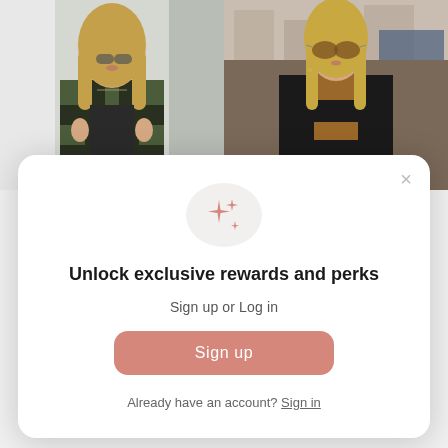[Figure (photo): Two fashion photos side by side: left shows a woman in green/black plaid jacket holding lapels near a white door, right shows a woman in brown/black plaid jacket wearing aviator sunglasses outdoors]
Unlock exclusive rewards and perks
Sign up or Log in
Sign up
Already have an account? Sign in